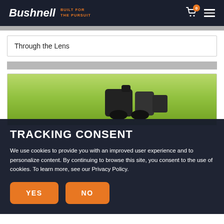Bushnell — BUILT FOR THE PURSUIT
Through the Lens
[Figure (photo): Close-up photo of binocular/scope optics against a green outdoor background]
TRACKING CONSENT
We use cookies to provide you with an improved user experience and to personalize content. By continuing to browse this site, you consent to the use of cookies. To learn more, see our Privacy Policy.
YES  NO